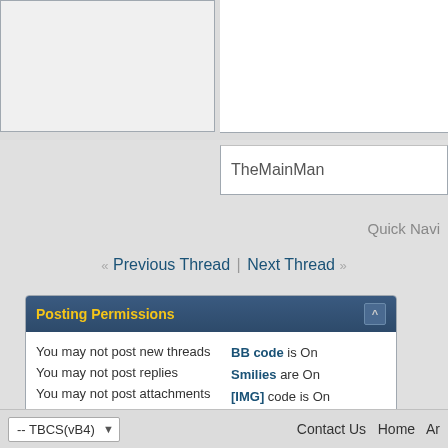TheMainMan
Quick Navi
« Previous Thread | Next Thread »
Posting Permissions
You may not post new threads
You may not post replies
You may not post attachments
You may not edit your posts
BB code is On
Smilies are On
[IMG] code is On
[VIDEO] code is On
HTML code is Off
Forum Rules
-- TBCS(vB4)   Contact Us  Home  Ar